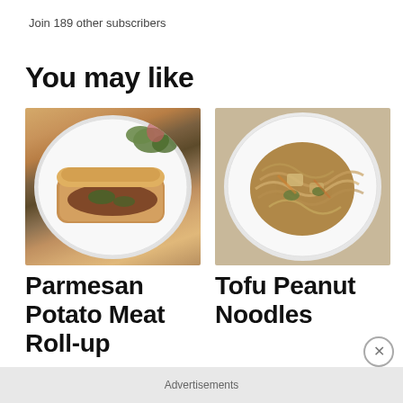Join 189 other subscribers
You may like
[Figure (photo): Photo of a Parmesan Potato Meat Roll-up on a white plate with green salad]
[Figure (photo): Photo of Tofu Peanut Noodles on a white plate]
Parmesan Potato Meat Roll-up
Tofu Peanut Noodles
Advertisements